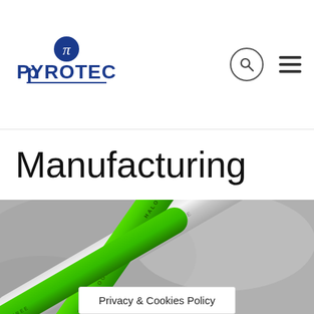[Figure (logo): Pyrotec company logo with pi symbol in blue circle above PYROTEC text in dark blue]
[Figure (photo): Close-up photo of green and silver cables labeled HALOGEN-FREE crossing each other against a blurred metallic background]
Manufacturing
Privacy & Cookies Policy